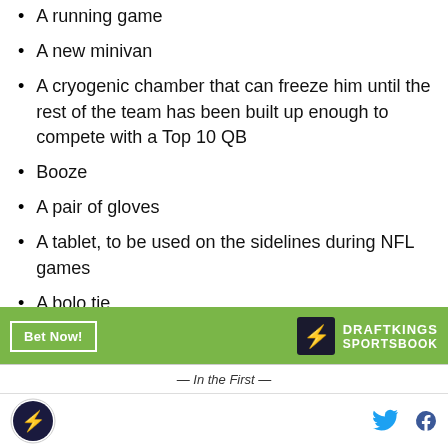A running game
A new minivan
A cryogenic chamber that can freeze him until the rest of the team has been built up enough to compete with a Top 10 QB
Booze
A pair of gloves
A tablet, to be used on the sidelines during NFL games
A bolo tie
[Figure (other): DraftKings Sportsbook advertisement banner with green background, Bet Now! button, and DraftKings Sportsbook logo]
SB Nation logo, Twitter icon, Facebook icon